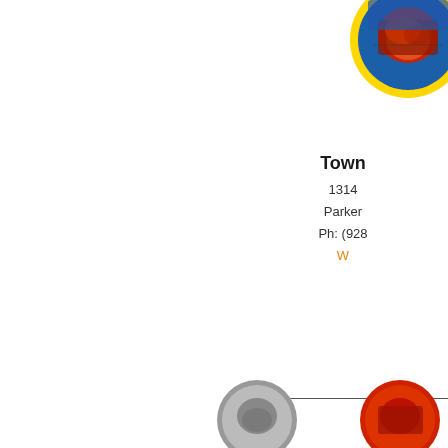[Figure (logo): Circular town seal/logo with yellow border, colorful artwork inside, partially visible in top-right corner]
Town
1314
Parker
Ph: (928
W
[Figure (logo): Circular logo partially visible at bottom center]
[Figure (logo): Circular logo partially visible at bottom right]